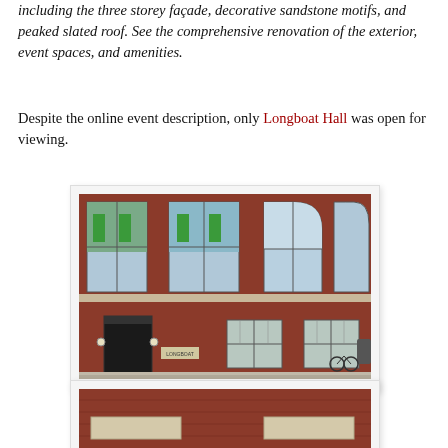including the three storey façade, decorative sandstone motifs, and peaked slated roof. See the comprehensive renovation of the exterior, event spaces, and amenities.
Despite the online event description, only Longboat Hall was open for viewing.
[Figure (photo): Exterior photograph of Longboat Hall, a red brick multi-storey building with large windows, arched upper windows, a dark entrance door with small lights on either side, and a sign reading 'Longboat'. A bicycle is visible near the right side of the building.]
[Figure (photo): Close-up photograph of the red brick exterior wall of Longboat Hall showing sandstone decorative elements and window details.]